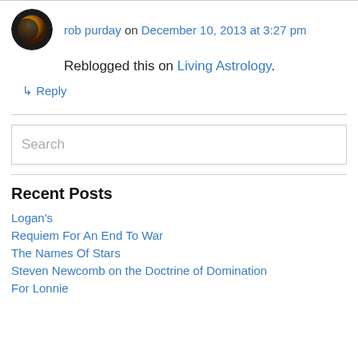rob purday on December 10, 2013 at 3:27 pm
Reblogged this on Living Astrology.
↳ Reply
Search
Recent Posts
Logan's
Requiem For An End To War
The Names Of Stars
Steven Newcomb on the Doctrine of Domination
For Lonnie